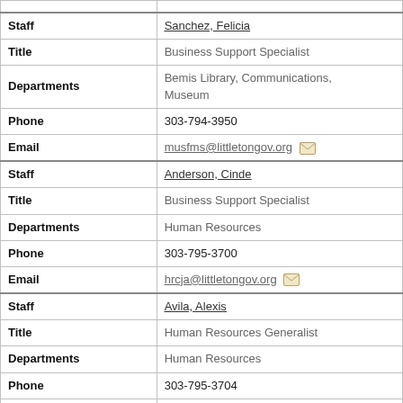| Field | Value |
| --- | --- |
| Staff | Sanchez, Felicia |
| Title | Business Support Specialist |
| Departments | Bemis Library, Communications, Museum |
| Phone | 303-794-3950 |
| Email | musfms@littletongov.org |
| Staff | Anderson, Cinde |
| Title | Business Support Specialist |
| Departments | Human Resources |
| Phone | 303-795-3700 |
| Email | hrcja@littletongov.org |
| Staff | Avila, Alexis |
| Title | Human Resources Generalist |
| Departments | Human Resources |
| Phone | 303-795-3704 |
| Email | hrara@littletongov.org |
| Staff | Valentine, Jeffery |
| Title | Senior Code Enforcement Specialist |